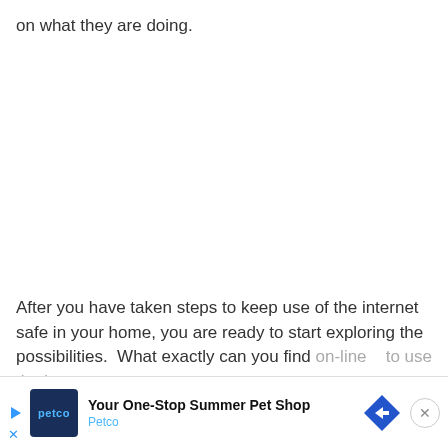on what they are doing.
After you have taken steps to keep use of the internet safe in your home, you are ready to start exploring the possibilities.  What exactly can you find on-line                                    to use the int
[Figure (other): Advertisement banner for Petco - Your One-Stop Summer Pet Shop, with Petco logo, blue diamond arrow icon, and close button]